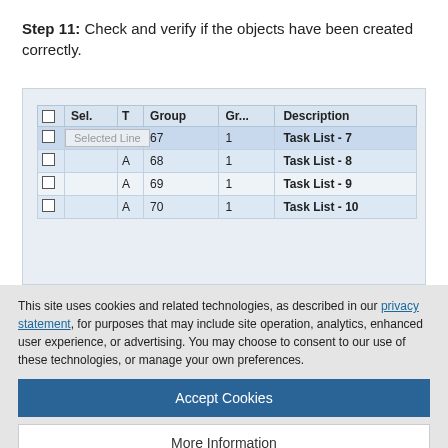Step 11: Check and verify if the objects have been created correctly.
[Figure (screenshot): Screenshot of a table UI showing columns: Sel., T, Group, Gr..., Description. Rows include: A 67 1 Task List - 7, A 68 1 Task List - 8, A 69 1 Task List - 9, A 70 1 Task List - 10. A tooltip reading 'Selected Line' appears over the first data row.]
This site uses cookies and related technologies, as described in our privacy statement, for purposes that may include site operation, analytics, enhanced user experience, or advertising. You may choose to consent to our use of these technologies, or manage your own preferences.
Accept Cookies
More Information
Privacy Policy | Powered by: TrustArc